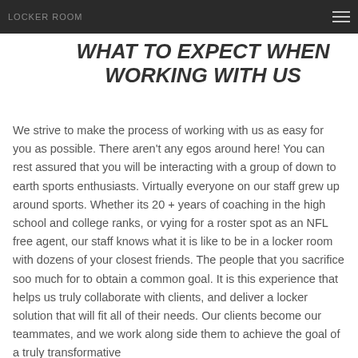LOCKER ROOM
[Figure (logo): Twitter bird logo icon, circular with rounded square border, light blue/gray tones]
WHAT TO EXPECT WHEN WORKING WITH US
We strive to make the process of working with us as easy for you as possible. There aren't any egos around here! You can rest assured that you will be interacting with a group of down to earth sports enthusiasts. Virtually everyone on our staff grew up around sports. Whether its 20 + years of coaching in the high school and college ranks, or vying for a roster spot as an NFL free agent, our staff knows what it is like to be in a locker room with dozens of your closest friends. The people that you sacrifice soo much for to obtain a common goal. It is this experience that helps us truly collaborate with clients, and deliver a locker solution that will fit all of their needs. Our clients become our teammates, and we work along side them to achieve the goal of a truly transformative